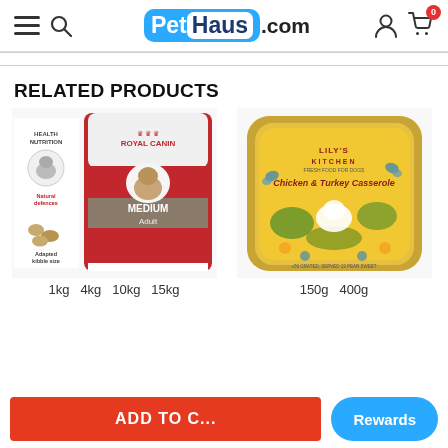PetHaus.com — navigation header with hamburger menu, search, logo, user icon, cart (0)
RELATED PRODUCTS
[Figure (photo): Royal Canin Medium Adult dog food bag with health nutrition and natural defences label, kibble size shown]
1kg  4kg  10kg  15kg
[Figure (photo): Lily's Kitchen Chicken & Turkey Casserole fresh food for dogs in yellow tray]
150g  400g
ADD TO C...
Rewards